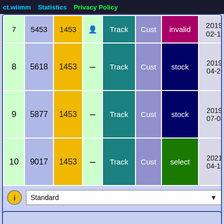ct.wiimm  Statistics  Privacy Policy
| # | ID | Pts |  | Type | Cust | Status | Date | Info |
| --- | --- | --- | --- | --- | --- | --- | --- | --- |
| 7 | 5453 | 1453 | — | Track | Cust | invalid | 2019-02-18 | To (x [r8 |
| 8 | 5618 | 1453 | — | Track | Cust | stock | 2019-04-26 | To (x [r8 |
| 9 | 5877 | 1453 | — | Track | Cust | stock | 2019-07-08 | To (x [r8 |
| 10 | 9017 | 1453 | — | Track | Cust | select | 2021-04-11 | To (x [r8 |
Standard (dropdown)